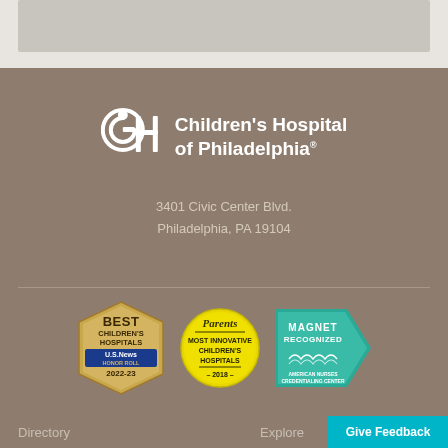[Figure (logo): Children's Hospital of Philadelphia logo with stylized CH monogram and text]
3401 Civic Center Blvd.
Philadelphia, PA 19104
[Figure (illustration): Three award badges: US News Best Children's Hospitals Honor Roll 2022-23, Parents Most Innovative Children's Hospitals 2018, Magnet Recognized American Nurses Credentialing Center]
Directory   Explore   Give Feedback